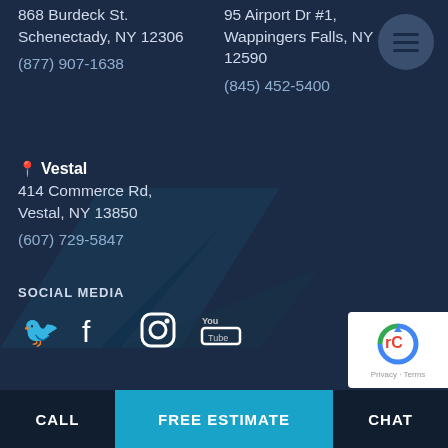868 Burdeck St.
Schenectady, NY 12306

(877) 907-1638
95 Airport Dr #1,
Wappingers Falls, NY 12590

(845) 452-5400
📍 Vestal
414 Commerce Rd,
Vestal, NY 13850

(607) 729-5847
SOCIAL MEDIA
[Figure (infographic): Social media icons: Twitter, Facebook, Instagram, YouTube]
[Figure (other): reCAPTCHA badge with Privacy - Terms text]
CALL | FREE ESTIMATE | CHAT